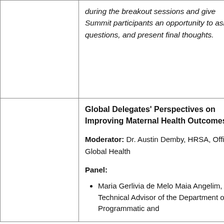|  | during the breakout sessions and give Summit participants an opportunity to ask questions, and present final thoughts. |
|  | Global Delegates' Perspectives on Improving Maternal Health Outcomes

Moderator: Dr. Austin Demby, HRSA, Office of Global Health

Panel:
• Maria Gerlivia de Melo Maia Angelim, Technical Advisor of the Department of Programmatic and... |